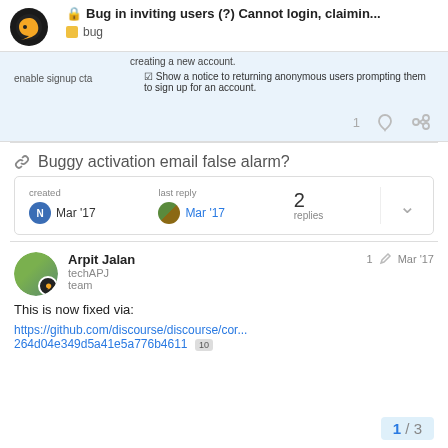Bug in inviting users (?) Cannot login, claimin... bug
creating a new account.
enable signup cta  ☑ Show a notice to returning anonymous users prompting them to sign up for an account.
1 ♡ 🔗
🔗 Buggy activation email false alarm?
| created | last reply | 2 replies |  |
| --- | --- | --- | --- |
| Mar '17 | Mar '17 |  |  |
Arpit Jalan techAPJ team  1 ✏ Mar '17
This is now fixed via:
https://github.com/discourse/discourse/cor... 264d04e349d5a41e5a776b4611  10
1 / 3